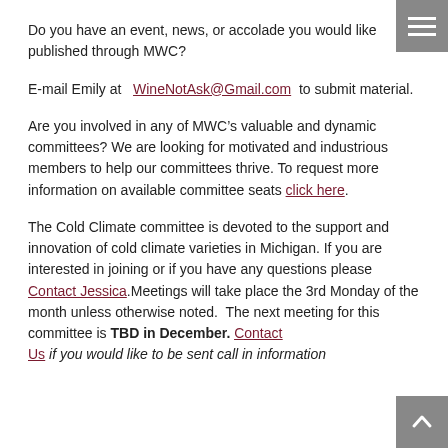Do you have an event, news, or accolade you would like published through MWC?
E-mail Emily at  WineNotAsk@Gmail.com  to submit material.
Are you involved in any of MWC’s valuable and dynamic committees? We are looking for motivated and industrious members to help our committees thrive. To request more information on available committee seats click here.
The Cold Climate committee is devoted to the support and innovation of cold climate varieties in Michigan. If you are interested in joining or if you have any questions please Contact Jessica.Meetings will take place the 3rd Monday of the month unless otherwise noted.  The next meeting for this committee is TBD in December. Contact Us if you would like to be sent call in information